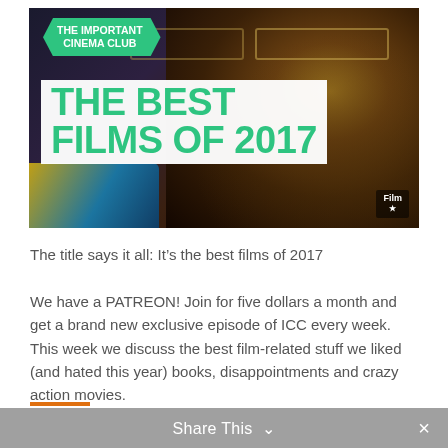[Figure (photo): Thumbnail image for 'The Important Cinema Club – The Best Films of 2017'. Shows a dark-toned close-up of a bearded man's face with glasses on the right side. On the left, a green pentagon/arrow badge reads 'THE IMPORTANT CINEMA CLUB', and below it a white box with large green bold text reads 'THE BEST FILMS OF 2017'. A small 'Film' badge appears in the lower right corner.]
The title says it all: It’s the best films of 2017
We have a PATREON! Join for five dollars a month and get a brand new exclusive episode of ICC every week. This week we discuss the best film-related stuff we liked (and hated this year) books, disappointments and crazy action movies.
WWW.PATREON.COM/THEIMPORTANTCINEMACLUB
Share This ⌄  ×